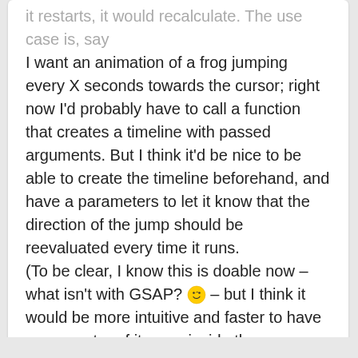it restarts, it would recalculate. The use case is, say I want an animation of a frog jumping every X seconds towards the cursor; right now I'd probably have to call a function that creates a timeline with passed arguments. But I think it'd be nice to be able to create the timeline beforehand, and have a parameters to let it know that the direction of the jump should be reevaluated every time it runs. (To be clear, I know this is doable now – what isn't with GSAP? 😉 – but I think it would be more intuitive and faster to have a parameter of its own inside the TweenLite and TimelineLite vars.)